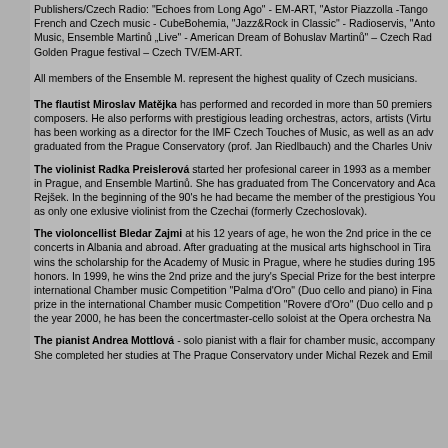Publishers/Czech Radio: 'Echoes from Long Ago' - EM-ART, 'Astor Piazzolla -Tango' French and Czech music - CubeBohemia, 'Jazz&Rock in Classic' - Radioservis, 'Anto Music, Ensemble Martinů „Live' - American Dream of Bohuslav Martinů' – Czech Rad Golden Prague festival – Czech TV/EM-ART.
All members of the Ensemble M. represent the highest quality of Czech musicians.
The flautist Miroslav Matějka has performed and recorded in more than 50 premiers composers. He also performs with prestigious leading orchestras, actors, artists (Virtu has been working as a director for the IMF Czech Touches of Music, as well as an adv graduated from the Prague Conservatory (prof. Jan Riedlbauch) and the Charles Univ
The violinist Radka Preislerová started her profesional career in 1993 as a member in Prague, and Ensemble Martinů. She has graduated from The Concervatory and Aca Rejšek. In the beginning of the 90's he had became the member of the prestigious You as only one exlusive violinist from the Czechai (formerly Czechoslovak).
The violoncellist Bledar Zajmi at his 12 years of age, he won the 2nd price in the ce concerts in Albania and abroad. After graduating at the musical arts highschool in Tira wins the scholarship for the Academy of Music in Prague, where he studies during 195 honors. In 1999, he wins the 2nd prize and the jury's Special Prize for the best interpre international Chamber music Competition 'Palma d'Oro' (Duo cello and piano) in Fina prize in the international Chamber music Competition 'Rovere d'Oro' (Duo cello and p the year 2000, he has been the concertmaster-cello soloist at the Opera orchestra Na
The pianist Andrea Mottlová - solo pianist with a flair for chamber music, accompany She completed her studies at The Prague Conservatory under Michal Rezek and Emil dur by Sergej Prokofjev with the Czech Philharmonic Orchestra. She graduated from T there she studied under Martin Kasík and František Malý Andrea, playing piano conce graduation. As an actress Andrea played the role of Blaženka, a happy-go-lucky pianis Juans' by by Oscar winning director Jiří Menzel.